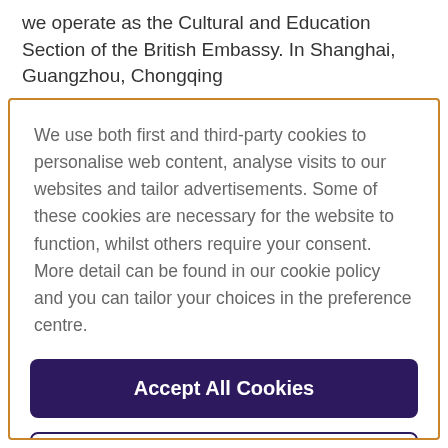we operate as the Cultural and Education Section of the British Embassy. In Shanghai, Guangzhou, Chongqing
We use both first and third-party cookies to personalise web content, analyse visits to our websites and tailor advertisements. Some of these cookies are necessary for the website to function, whilst others require your consent. More detail can be found in our cookie policy and you can tailor your choices in the preference centre.
Accept All Cookies
Cookies Settings